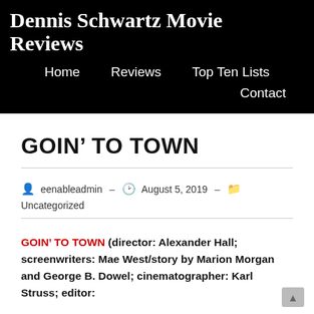Dennis Schwartz Movie Reviews
Home   Reviews   Top Ten Lists   Contact
GOIN' TO TOWN
eenableadmin · August 5, 2019 · Uncategorized
GOIN' TO TOWN (director: Alexander Hall; screenwriters: Mae West/story by Marion Morgan and George B. Douel; cinematographer: Karl Struss; editor: